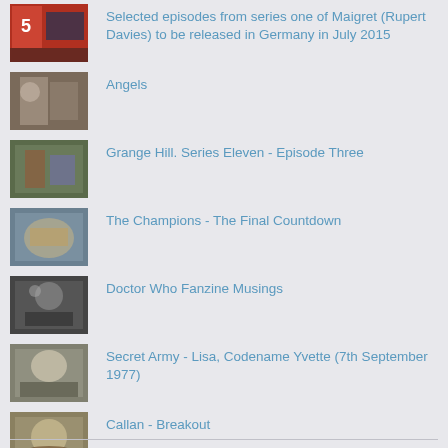Selected episodes from series one of Maigret (Rupert Davies) to be released in Germany in July 2015
Angels
Grange Hill. Series Eleven - Episode Three
The Champions - The Final Countdown
Doctor Who Fanzine Musings
Secret Army - Lisa, Codename Yvette (7th September 1977)
Callan - Breakout